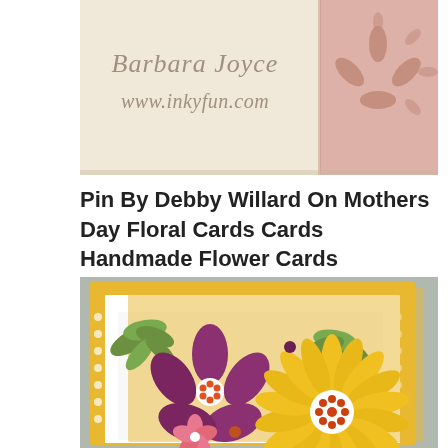[Figure (photo): A handmade greeting card featuring a cream/ivory front with cursive script text reading 'Barbara Joyce www.inkyfun.com' and a pink decorative panel with a flower cut-out design]
Pin By Debby Willard On Mothers Day Floral Cards Cards Handmade Flower Cards
[Figure (photo): A handmade flower card with a yellow/mustard background featuring polka dot border pattern, white center panel, and layered paper flower decorations including a purple multi-petal flower with orange center, a yellow daisy/sunflower with orange center, green leaf embellishments, and small purple and orange brad/dot accents]